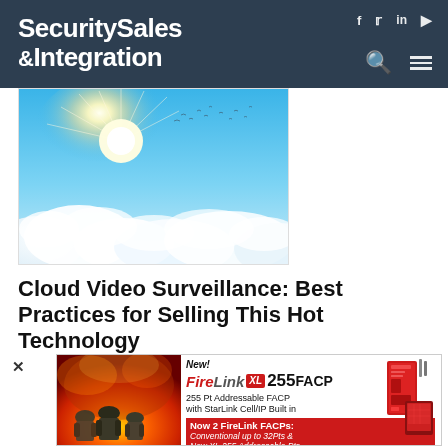Security Sales & Integration
[Figure (photo): Blue sky with bright sun and scattered clouds, birds flying in the background]
Cloud Video Surveillance: Best Practices for Selling This Hot Technology
[Figure (infographic): Advertisement for FireLink XL 255 FACP — 255 Pt Addressable FACP with StarLink Cell/IP Built in. Now 2 FireLink FACPs: Conventional up to 32Pts & New XL 255 Addressable Pts. Shows firefighters and red security panel devices.]